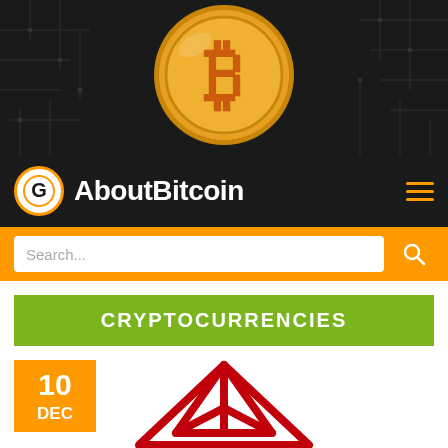[Figure (photo): Bitcoin gold coin on dark circuit board background]
AboutBitcoin
[Figure (screenshot): Search bar with orange background]
CRYPTOCURRENCIES
[Figure (logo): TRON cryptocurrency logo - red geometric arrow/triangle shape with Chinese characters and TRON text below]